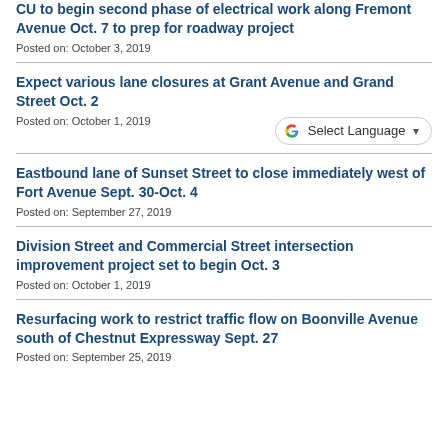CU to begin second phase of electrical work along Fremont Avenue Oct. 7 to prep for roadway project
Posted on: October 3, 2019
Expect various lane closures at Grant Avenue and Grand Street Oct. 2
Posted on: October 1, 2019
Eastbound lane of Sunset Street to close immediately west of Fort Avenue Sept. 30-Oct. 4
Posted on: September 27, 2019
Division Street and Commercial Street intersection improvement project set to begin Oct. 3
Posted on: October 1, 2019
Resurfacing work to restrict traffic flow on Boonville Avenue south of Chestnut Expressway Sept. 27
Posted on: September 25, 2019